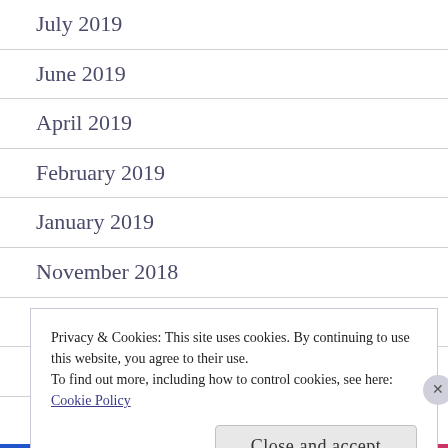July 2019
June 2019
April 2019
February 2019
January 2019
November 2018
September 2018
August 2018
July 2018
Privacy & Cookies: This site uses cookies. By continuing to use this website, you agree to their use.
To find out more, including how to control cookies, see here:
Cookie Policy
Close and accept